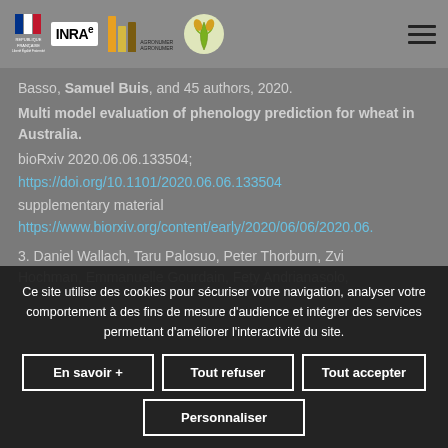République Française | INRAE | Agronumber | Wheat logo | Navigation menu
Basso, Samuel Buis, and 45 authors, 2020.
Multi model evaluation of phenology prediction for wheat in Australia.
bioRxiv 2020.06.06.133504;
https://doi.org/10.1101/2020.06.06.133504
supplementary material
https://www.biorxiv.org/content/early/2020/06/06/2020.06.
3. Daniel Wallach, Taru Palosuo, Peter Thorburn, Zvi Hochman, Emmanuelle Gourdain, Fety Andrianasolo,
Ce site utilise des cookies pour sécuriser votre navigation, analyser votre comportement à des fins de mesure d'audience et intégrer des services permettant d'améliorer l'interactivité du site.
En savoir + | Tout refuser | Tout accepter | Personnaliser